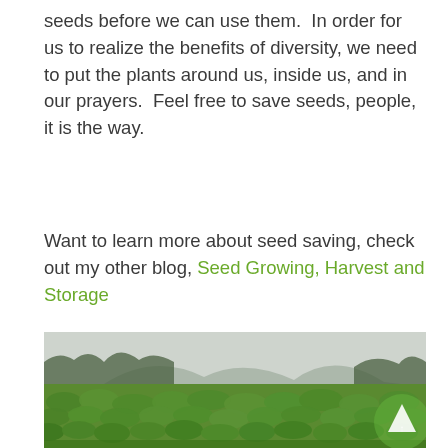seeds before we can use them.  In order for us to realize the benefits of diversity, we need to put the plants around us, inside us, and in our prayers.  Feel free to save seeds, people, it is the way.
Want to learn more about seed saving, check out my other blog, Seed Growing, Harvest and Storage
[Figure (photo): A wide agricultural field filled with lush green leafy plants, with a backdrop of forested hills and misty mountains under a hazy sky.]